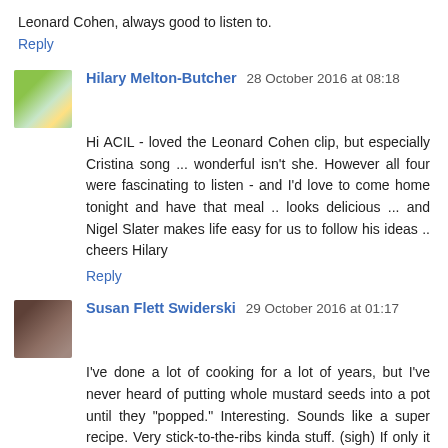Leonard Cohen, always good to listen to.
Reply
Hilary Melton-Butcher 28 October 2016 at 08:18
Hi ACIL - loved the Leonard Cohen clip, but especially Cristina song ... wonderful isn't she. However all four were fascinating to listen - and I'd love to come home tonight and have that meal .. looks delicious ... and Nigel Slater makes life easy for us to follow his ideas .. cheers Hilary
Reply
Susan Flett Swiderski 29 October 2016 at 01:17
I've done a lot of cooking for a lot of years, but I've never heard of putting whole mustard seeds into a pot until they "popped." Interesting. Sounds like a super recipe. Very stick-to-the-ribs kinda stuff. (sigh) If only it wouldn't also stick to my hips and belly. :)